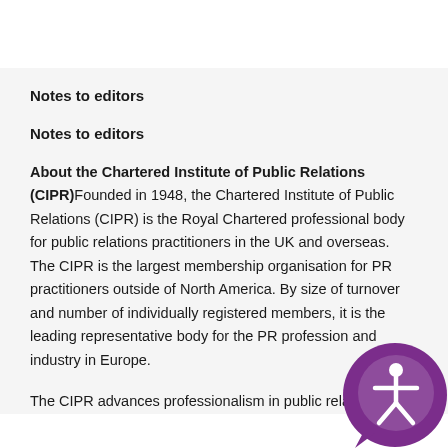Notes to editors
Notes to editors
About the Chartered Institute of Public Relations (CIPR)Founded in 1948, the Chartered Institute of Public Relations (CIPR) is the Royal Chartered professional body for public relations practitioners in the UK and overseas. The CIPR is the largest membership organisation for PR practitioners outside of North America. By size of turnover and number of individually registered members, it is the leading representative body for the PR profession and industry in Europe.
The CIPR advances professionalism in public relations